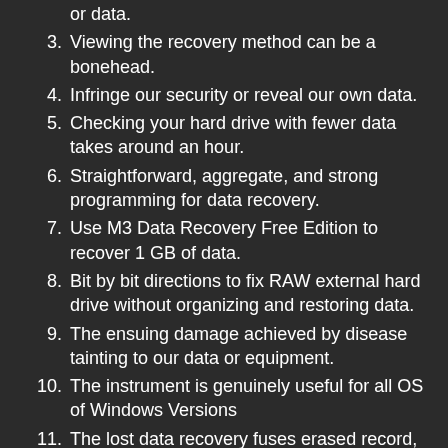or data.
3. Viewing the recovery method can be a bonehead.
4. Infringe our security or reveal our own data.
5. Checking your hard drive with fewer data takes around an hour.
6. Straightforward, aggregate, and strong programming for data recovery.
7. Use M3 Data Recovery Free Edition to recover 1 GB of data.
8. Bit by bit directions to fix RAW external hard drive without organizing and restoring data.
9. The ensuing damage achieved by disease tainting to our data or equipment.
10. The instrument is genuinely useful for all OS of Windows Versions
11. The lost data recovery fuses erased record, unformat